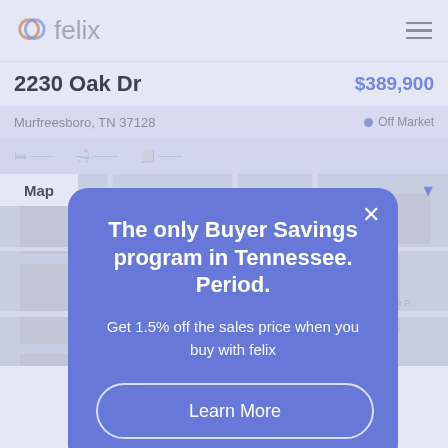[Figure (screenshot): Felix real estate app screenshot showing property listing at 2230 Oak Dr, Murfreesboro TN 37128, priced at $389,900, Off Market status, with a map view in the background]
The only Buyer Savings program in Tennessee. Period.
Get 1.5% off the sales price when you buy with felix
Learn More
Buy with felix and save 5,849. Learn More
Book a tour